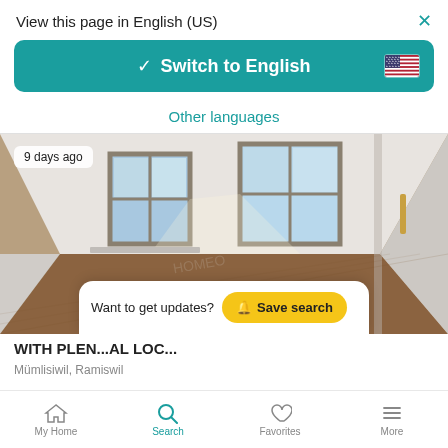View this page in English (US)
Switch to English
Other languages
[Figure (photo): Interior room photo showing an empty room with hardwood floors, white walls, and two windows with natural light.]
9 days ago
Want to get updates?
Save search
WITH PLEN...AL LOC...
Mümlisiwil, Ramiswil
My Home   Search   Favorites   More